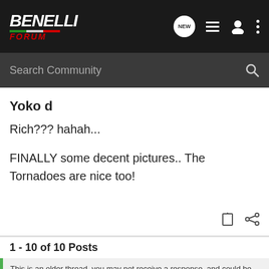BENELLI FORUM — Search Community
Yoko d
Rich??? hahah...

FINALLY some decent pictures.. The Tornadoes are nice too!
1 - 10 of 10 Posts
This is an older thread, you may not receive a response, and could be reviving an old thread. Please consider creating a new thread.
[Figure (photo): Unicef advertisement banner with children in background]